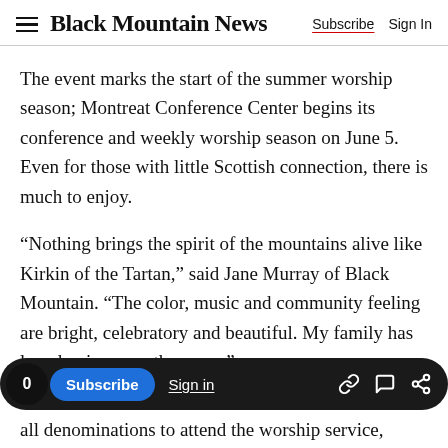Black Mountain News | Subscribe | Sign In
The event marks the start of the summer worship season; Montreat Conference Center begins its conference and weekly worship season on June 5. Even for those with little Scottish connection, there is much to enjoy.
“Nothing brings the spirit of the mountains alive like Kirkin of the Tartan,” said Jane Murray of Black Mountain. “The color, music and community feeling are bright, celebratory and beautiful. My family has loved going over the years.”
all denominations to attend the worship service,